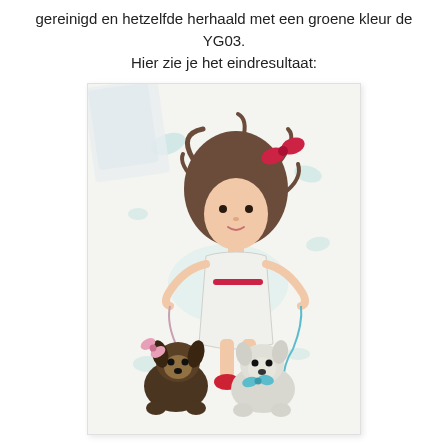gereinigd en hetzelfde herhaald met een groene kleur de YG03.
Hier zie je het eindresultaat:
[Figure (illustration): A hand-drawn and colored illustration of a cartoon girl with big brown hair and a red bow, wearing a white dress and red shoes, holding leashes attached to two dogs — a dark Yorkshire Terrier with a pink bow and a white West Highland Terrier with a teal bow tie. The background has light teal splashes. A clear acrylic block/tool is partially visible in the upper left corner of the photo.]